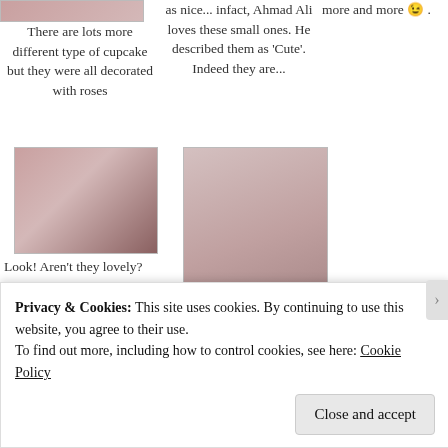[Figure (photo): Partial image of decorated cupcakes at top left]
There are lots more different type of cupcake but they were all decorated with roses
as nice... infact, Ahmad Ali loves these small ones. He described them as ‘Cute’. Indeed they are...
more and more 😉 .
[Figure (photo): Cupcakes decorated with pink roses arranged on a table]
[Figure (photo): A tall tower of beautifully decorated cupcakes at an outdoor event]
Look! Aren’t they lovely?
The tower of beautifully decorated cupcakes.
Privacy & Cookies: This site uses cookies. By continuing to use this website, you agree to their use.
To find out more, including how to control cookies, see here: Cookie Policy
Close and accept